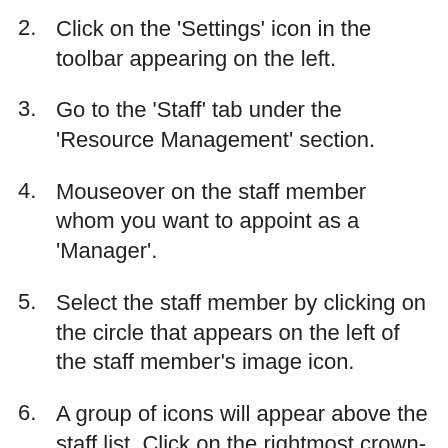Click on the ‘Settings’ icon in the toolbar appearing on the left.
Go to the ‘Staff’ tab under the ‘Resource Management’ section.
Mouseover on the staff member whom you want to appoint as a ‘Manager’.
Select the staff member by clicking on the circle that appears on the left of the staff member’s image icon.
A group of icons will appear above the staff list. Click on the rightmost crown-like icon to appoint the selected staff member as a